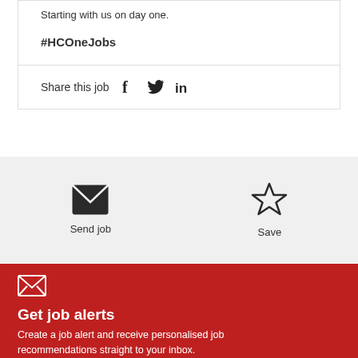Starting with us on day one.
#HCOneJobs
Share this job
Send job
Save
Get job alerts
Create a job alert and receive personalised job recommendations straight to your inbox.
Create alert